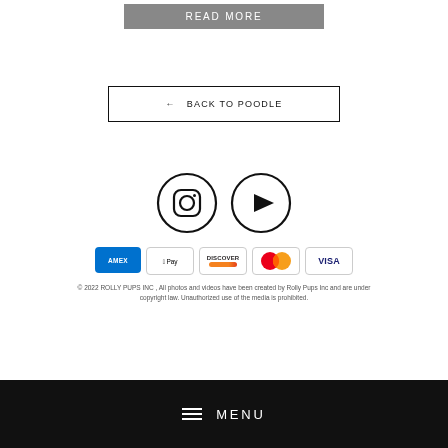[Figure (other): READ MORE button – dark grey rectangular button with white uppercase text]
[Figure (other): BACK TO POODLE button – outlined rectangular button with arrow and uppercase text]
[Figure (other): Instagram and YouTube circular social media icons]
[Figure (other): Payment method icons: American Express, Apple Pay, Discover, Mastercard, Visa]
© 2022 ROLLY PUPS INC , All photos and videos have been created by Rolly Pups Inc and are under copyright law. Unauthorized use of the media is prohibited.
[Figure (other): Black footer bar with hamburger menu icon and MENU text in white]